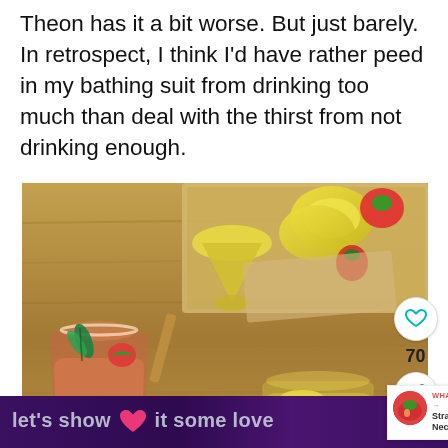Theon has it a bit worse. But just barely. In retrospect, I think I’d have rather peed in my bathing suit from drinking too much than deal with the thirst from not drinking enough.
[Figure (photo): Photo of lemonade drinks with fresh fruits including lemons, strawberries, and mint leaves on a wooden board. Two glasses visible with citrus drinks.]
70
WHAT’S NEXT → Strawberry Nectarine...
let’s show it some love